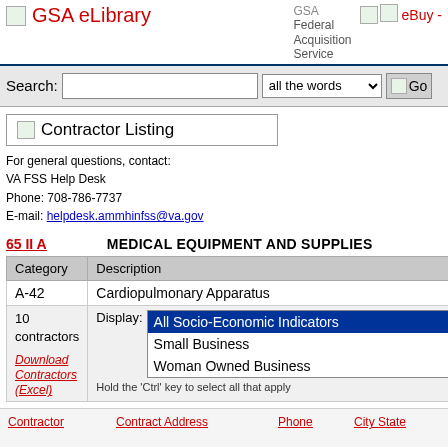GSA eLibrary | GSA Federal Acquisition Service | eBuy -
Search: [input] all the words [Go]
Contractor Listing
For general questions, contact:
VA FSS Help Desk
Phone: 708-786-7737
E-mail: helpdesk.ammhinfss@va.gov
65 II A   MEDICAL EQUIPMENT AND SUPPLIES
| Category | Description |
| --- | --- |
| A-42 | Cardiopulmonary Apparatus |
| 10 contractors
Download Contractors (Excel) | Display: All Socio-Economic Indicators
Small Business
Woman Owned Business
Hold the 'Ctrl' key to select all that apply |
| Contractor | Contract Address | Phone | City State |
| --- | --- | --- | --- |